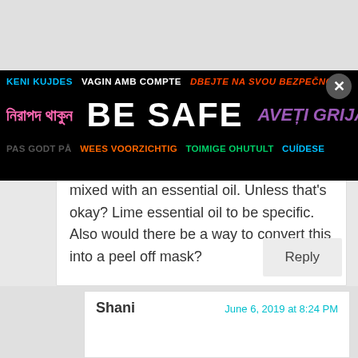[Figure (screenshot): Multilingual safety advertisement banner with black background. Text includes: 'KENI KUJDES  VAGIN AMB COMPTE  DBEJTE NA SVOU BEZPEČNOST', Bengali text, 'BE SAFE', 'AVEȚI GRIJĂ', 'PAS GODT PÅ  WEES VOORZICHTIG  TOIMIGE OHUTULT  CUÍDESE'. ADVERTISEMENT label at bottom right.]
Shani
June 6, 2019 at 8:22 PM
Is there anything apart from Apple cider vinegar or witch hazel to lower the PH? Can't find pure aloe gel either. It's all mixed with an essential oil. Unless that's okay? Lime essential oil to be specific. Also would there be a way to convert this into a peel off mask?
Reply
Shani
June 6, 2019 at 8:24 PM